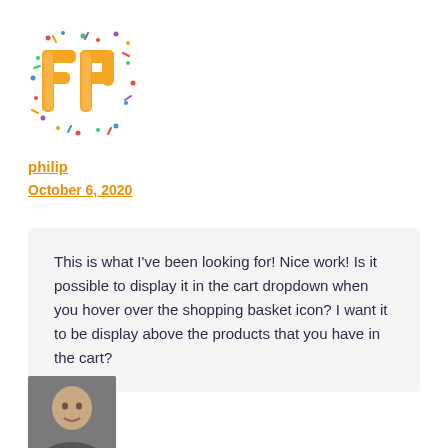[Figure (logo): Colorful logo with two letter F characters styled in orange with festive confetti background, resembling 'FP' initials]
philip
October 6, 2020
This is what I've been looking for! Nice work! Is it possible to display it in the cart dropdown when you hover over the shopping basket icon? I want it to be display above the products that you have in the cart?
[Figure (photo): Avatar photo of a person, partially visible at the bottom of the page]